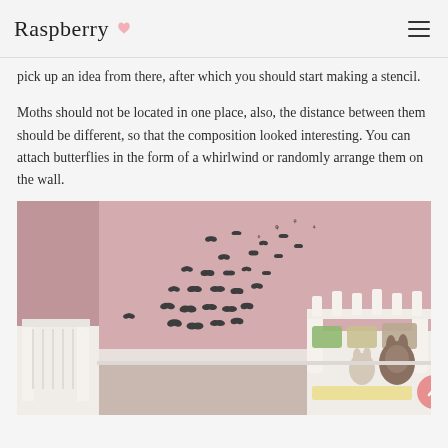Raspberry
pick up an idea from there, after which you should start making a stencil.
Moths should not be located in one place, also, the distance between them should be different, so that the composition looked interesting. You can attach butterflies in the form of a whirlwind or randomly arrange them on the wall.
[Figure (photo): A pink children's bedroom with many small dark butterfly decorations arranged in a swirling pattern on the wall. White furniture including beds and a bench with stuffed animals and colorful cushions.]